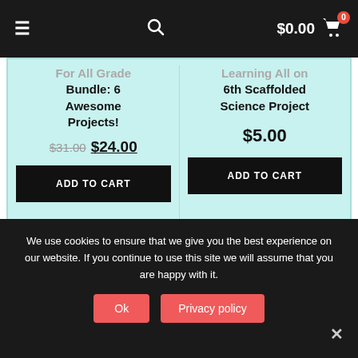≡   🔍   $0.00 🛒 0
For All Grade Bundle: 6 Awesome Projects!  $31.00 $24.00  ADD TO CART
Learning All on 6th Scaffolded Science Project  $5.00  ADD TO CART
We use cookies to ensure that we give you the best experience on our website. If you continue to use this site we will assume that you are happy with it.
Ok   Privacy policy